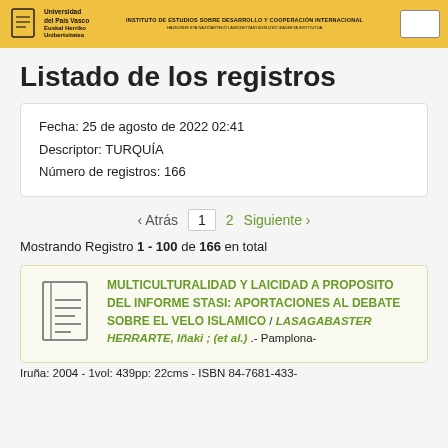[Figure (logo): University logos header bar with Universidad del País Vasco / Euskal Herriko Unibertsitatea logo on left, institute text in center, and a box on the right]
Listado de los registros
Fecha: 25 de agosto de 2022 02:41
Descriptor: TURQUÍA
Número de registros: 166
‹ Atrás  1  2  Siguiente ›
Mostrando Registro 1 - 100 de 166 en total
MULTICULTURALIDAD Y LAICIDAD A PROPOSITO DEL INFORME STASI: APORTACIONES AL DEBATE SOBRE EL VELO ISLAMICO / LASAGABASTER HERRARTE, Iñaki ; (et al.) .- Pamplona-Iruña: 2004 - 1vol: 439pp: 22cms - ISBN 84-7681-433-